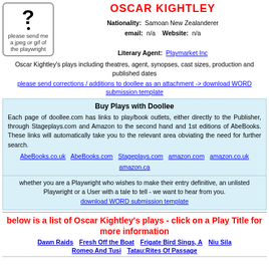[Figure (illustration): Placeholder image box with a question mark icon and text 'please send me a jpeg or gif of the playwright']
OSCAR KIGHTLEY
Nationality: Samoan New Zealanderer
email: n/a  Website: n/a
Literary Agent: Playmarket Inc
Oscar Kightley's plays including theatres, agent, synopses, cast sizes, production and published dates
please send corrections / additions to doollee as an attachment -> download WORD submission template
Buy Plays with Doollee
Each page of doollee.com has links to play/book outlets, either directly to the Publisher, through Stageplays.com and Amazon to the second hand and 1st editions of AbeBooks. These links will automatically take you to the relevant area obviating the need for further search.
AbeBooks.co.uk  AbeBooks.com  Stageplays.com  amazon.com  amazon.co.uk  amazon.ca
whether you are a Playwright who wishes to make their entry definitive, an unlisted Playwright or a User with a tale to tell - we want to hear from you.
download WORD submission template
below is a list of Oscar Kightley's plays - click on a Play Title for more information
Dawn Raids
Fresh Off the Boat
Frigate Bird Sings, A
Niu Sila
Romeo And Tusi
Tatau:Rites Of Passage